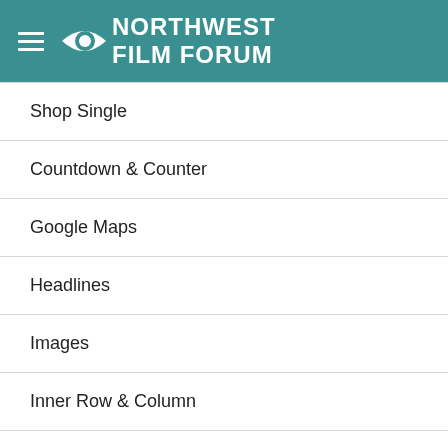Northwest Film Forum
Shop Single
Countdown & Counter
Google Maps
Headlines
Images
Inner Row & Column
Organic Animation
Price List & Progress Bar
Schedule & Step Line
Service